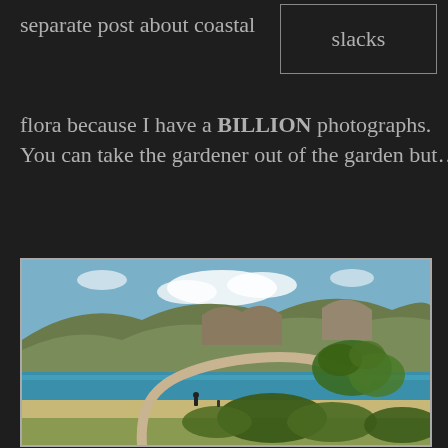separate post about coastal
slacks
flora because I have a BILLION photographs. You can take the gardener out of the garden but…
[Figure (photo): A wind-bent tree with a curved trunk arching horizontally over a sandy beach shore, with green foliage at the end, a turquoise sea and mountainous landscape in the background under a partly cloudy sky.]